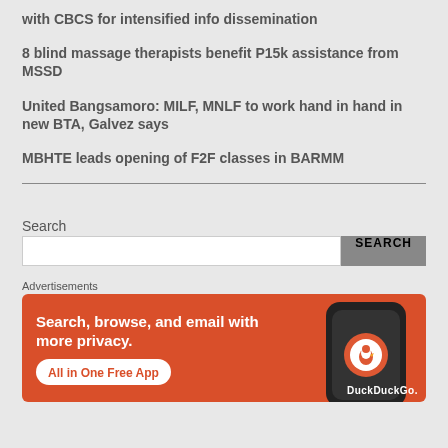with CBCS for intensified info dissemination
8 blind massage therapists benefit P15k assistance from MSSD
United Bangsamoro: MILF, MNLF to work hand in hand in new BTA, Galvez says
MBHTE leads opening of F2F classes in BARMM
Search
[Figure (screenshot): DuckDuckGo advertisement banner with orange background. Text: Search, browse, and email with more privacy. All in One Free App. DuckDuckGo logo on right side with phone graphic.]